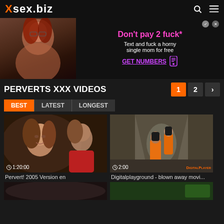Xsex.biz
[Figure (screenshot): Advertisement banner: photo of a woman on left, text 'Don't pay 2 fuck* Text and fuck a horny single mom for free GET NUMBERS' on right with pink/purple text]
PERVERTS XXX VIDEOS
1 2 >
BEST LATEST LONGEST
[Figure (screenshot): Video thumbnail: close-up of a woman with brown hair and a man, duration 1:20:00]
Pervert! 2005 Version en
[Figure (screenshot): Video thumbnail: two women in orange prison jumpsuits walking in a corridor, duration 2:00, DigitalPlayground branded]
Digitalplayground - blown away movi...
[Figure (screenshot): Video thumbnail: bottom left, partially visible]
[Figure (screenshot): Video thumbnail: bottom right, partially visible, green tones]